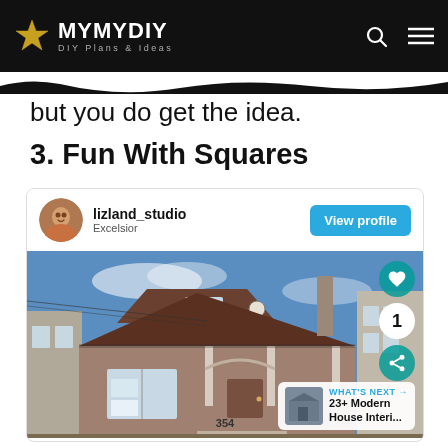MYMYDIY DIY Plans & Ideas
but you do get the idea.
3. Fun With Squares
[Figure (screenshot): A card from lizland_studio (Excelsior) with a View profile button and a photo of a residential house numbered 354, with like, count (1), and share action buttons, plus a What's Next overlay for 23+ Modern House Interi...]